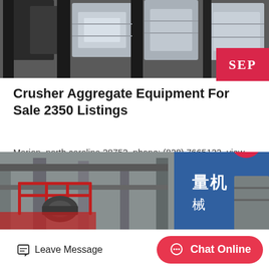[Figure (photo): Industrial crusher/aggregate equipment machinery photographed from above, showing dark metal frames and panels]
Crusher Aggregate Equipment For Sale 2350 Listings
Marion, north carolina 28752. phone: (828) 7665122. view details. email seller video chat. crusher operation for sale featuring metso lt106 crushing plant (557 crushing hours), metso lt300hp cone…
Get Price  >
[Figure (photo): Industrial factory or plant with scaffolding, red railings, machinery, and Chinese text signage visible in the background]
Leave Message    Chat Online